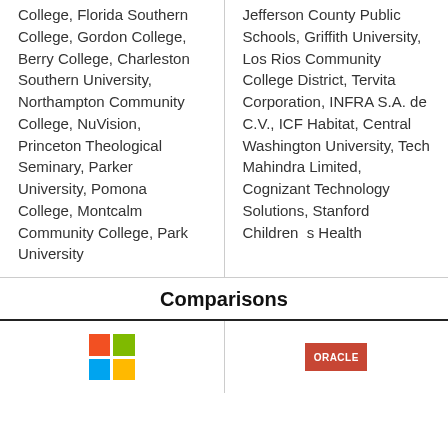College, Florida Southern College, Gordon College, Berry College, Charleston Southern University, Northampton Community College, NuVision, Princeton Theological Seminary, Parker University, Pomona College, Montcalm Community College, Park University
Jefferson County Public Schools, Griffith University, Los Rios Community College District, Tervita Corporation, INFRA S.A. de C.V., ICF Habitat, Central Washington University, Tech Mahindra Limited, Cognizant Technology Solutions, Stanford Children s Health
Comparisons
[Figure (logo): Microsoft four-color logo (red, green, blue, yellow squares)]
[Figure (logo): Oracle logo in red rectangle with white text]